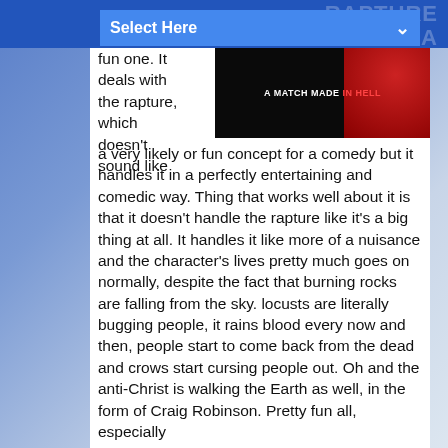RAPTURE PALOOZA
[Figure (screenshot): Dropdown UI element labeled 'Select Here' with chevron arrow on blue background]
[Figure (photo): Movie promotional image for 'A Match Made in Hell' — dark background with black and red sections]
fun one. It deals with the rapture, which doesn't sound like a very likely or fun concept for a comedy but it handles it in a perfectly entertaining and comedic way. Thing that works well about it is that it doesn't handle the rapture like it's a big thing at all. It handles it like more of a nuisance and the character's lives pretty much goes on normally, despite the fact that burning rocks are falling from the sky. locusts are literally bugging people, it rains blood every now and then, people start to come back from the dead and crows start cursing people out. Oh and the anti-Christ is walking the Earth as well, in the form of Craig Robinson. Pretty fun all, especially when considering all the previous Christian